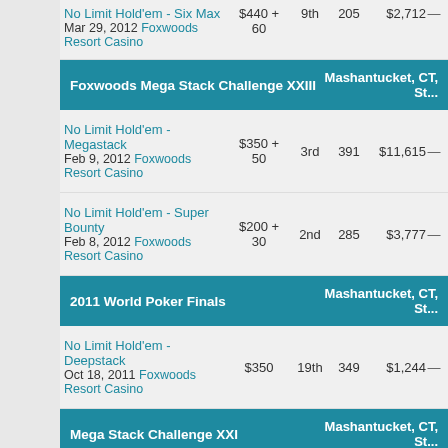| Event | Buy-in | Place | Entries | Winnings |  |
| --- | --- | --- | --- | --- | --- |
| No Limit Hold'em - Six Max
Mar 29, 2012 Foxwoods Resort Casino | $440 + 60 | 9th | 205 | $2,712 | — |
| [Foxwoods Mega Stack Challenge XXIII] |  |  |  |  | Mashantucket, CT, St... |
| No Limit Hold'em - Megastack
Feb 9, 2012 Foxwoods Resort Casino | $350 + 50 | 3rd | 391 | $11,615 | — |
| No Limit Hold'em - Super Bounty
Feb 8, 2012 Foxwoods Resort Casino | $200 + 30 | 2nd | 285 | $3,777 | — |
| [2011 World Poker Finals] |  |  |  |  | Mashantucket, CT, St... |
| No Limit Hold'em - Deepstack
Oct 18, 2011 Foxwoods Resort Casino | $350 | 19th | 349 | $1,244 | — |
| [Mega Stack Challenge XXI] |  |  |  |  | Mashantucket, CT, St... |